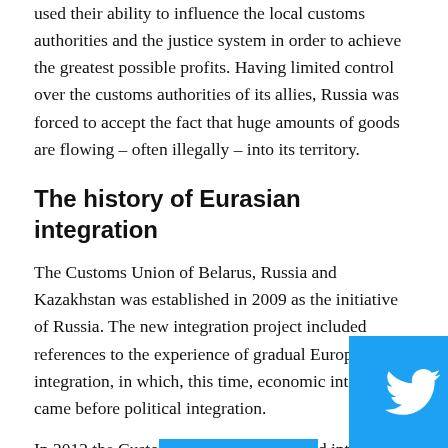used their ability to influence the local customs authorities and the justice system in order to achieve the greatest possible profits. Having limited control over the customs authorities of its allies, Russia was forced to accept the fact that huge amounts of goods are flowing – often illegally – into its territory.
The history of Eurasian integration
The Customs Union of Belarus, Russia and Kazakhstan was established in 2009 as the initiative of Russia. The new integration project included references to the experience of gradual European integration, in which, this time, economic integration came before political integration.
In 2012 the Custo[ms Union was transforme]d into the Common Econom[ic Space (CES) fo]r the
[Figure (infographic): Social sharing buttons overlay showing Twitter (blue), LinkedIn (dark blue), and email/envelope (grey) icons]